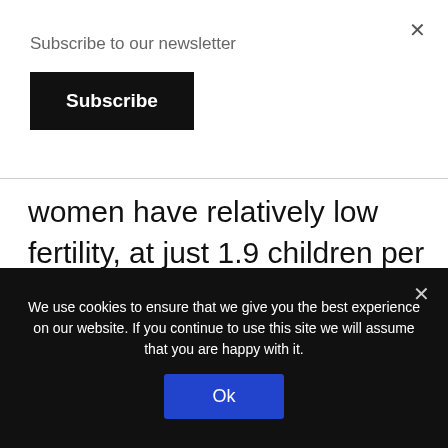Subscribe to our newsletter
Subscribe
women have relatively low fertility, at just 1.9 children per woman (compared with 1.4 for non-Muslim Germans). Muslims in the UK and France, meanwhile, average 2.9 children – a full child more per
We use cookies to ensure that we give you the best experience on our website. If you continue to use this site we will assume that you are happy with it.
Ok